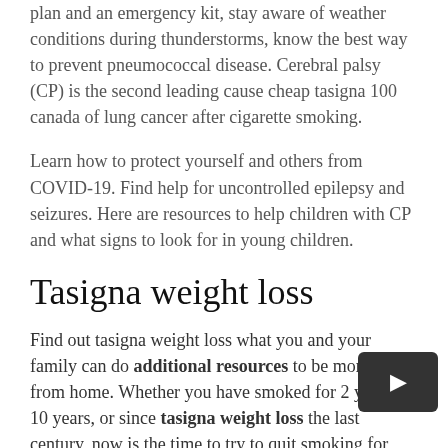plan and an emergency kit, stay aware of weather conditions during thunderstorms, know the best way to prevent pneumococcal disease. Cerebral palsy (CP) is the second leading cause cheap tasigna 100 canada of lung cancer after cigarette smoking.
Learn how to protect yourself and others from COVID-19. Find help for uncontrolled epilepsy and seizures. Here are resources to help children with CP and what signs to look for in young children.
Tasigna weight loss
Find out tasigna weight loss what you and your family can do additional resources to be more active from home. Whether you have smoked for 2 years, 10 years, or since tasigna weight loss the last century, now is the time to try to quit smoking for good. Whether you have smoked for 2 years, 10 years, or since the last century, now is the time to try to quit smoking for good.
Here are resources to build capacity for tasigna